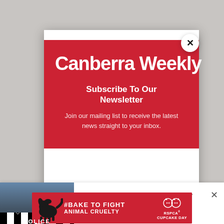Canberra Weekly
Subscribe To Our Newsletter
Join our mailing list to receive the latest news straight to your inbox.
[Figure (other): Close button (X) circle on modal]
[Figure (photo): Police car with black and white checkered pattern]
Missing 33-year-old woman's body found in Belconnen | Canberra Weekly
[Figure (other): RSPCA #BAKE TO FIGHT ANIMAL CRUELTY Cupcake Day advertisement banner with dog silhouette]